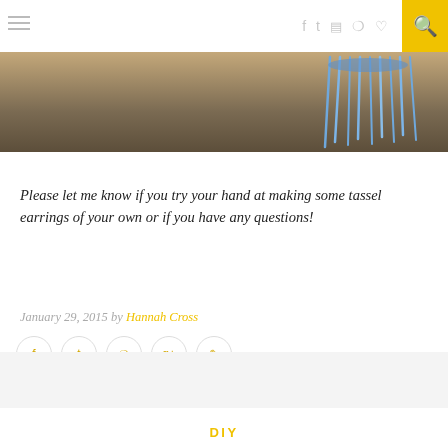≡  (nav icons) 🔍
[Figure (photo): Partial view of blue tassel earrings on a tan/brown background]
Please let me know if you try your hand at making some tassel earrings of your own or if you have any questions!
January 29, 2015 by Hannah Cross
(social share icons: facebook, twitter, pinterest, google+, comment)
DIY